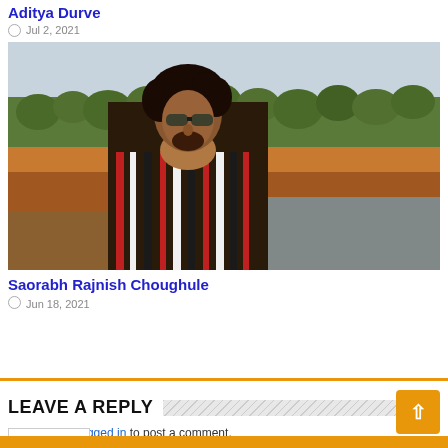Aditya Durve
Jul 2, 2021
[Figure (photo): Outdoor photo of a man with curly dark hair and sunglasses wearing a striped shirt, standing in front of a coastal landscape with trees and red laterite cliffs.]
Saorabh Rajnish Choughule
Jun 18, 2021
LEAVE A REPLY
You must be logged in to post a comment.